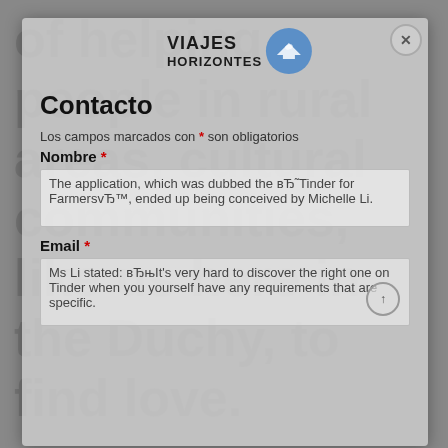of helping people in rural areas, cultural communities, like us here in the Duchy, to find love.
[Figure (logo): VIAJES HORIZONTES logo with blue circular icon containing a plane silhouette]
Contacto
Los campos marcados con * son obligatorios
Nombre *
The application, which was dubbed the вЂ˜Tinder for FarmersvЂ™, ended up being conceived by Michelle Li.
Email *
Ms Li stated: вЂњIt's very hard to discover the right one on Tinder when you yourself have any requirements that are specific.